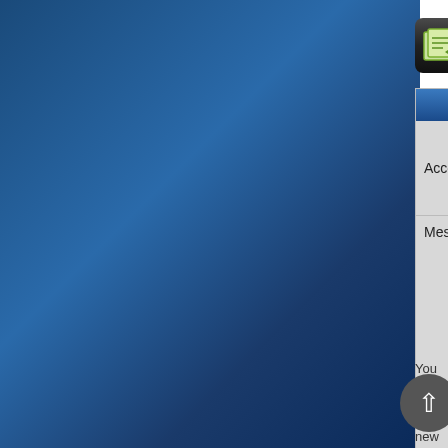[Figure (screenshot): Fast Reply button with icon and text 'FAST REPLY' on dark background]
[Figure (screenshot): Post reply form with Account, Name, Password, Message fields and SUBMIT button, header showing 'Pos...']
You cannot start a new topic.
You can view topic.
You cannot reply to posts.
You cannot edit your posts.
You cannot delete your posts.
[Figure (other): Scroll-to-top circular grey button with upward arrow]